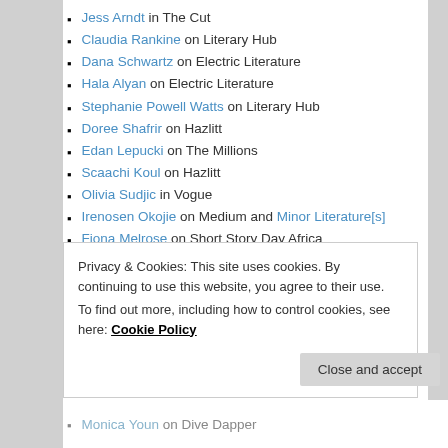Jess Arndt in The Cut
Claudia Rankine on Literary Hub
Dana Schwartz on Electric Literature
Hala Alyan on Electric Literature
Stephanie Powell Watts on Literary Hub
Doree Shafrir on Hazlitt
Edan Lepucki on The Millions
Scaachi Koul on Hazlitt
Olivia Sudjic in Vogue
Irenosen Okojie on Medium and Minor Literature[s]
Fiona Melrose on Short Story Day Africa
Naomi Alderman in The New Statesman
G. Willow Wilson in The New Yorker
Kate Tempest in The Guardian
Privacy & Cookies: This site uses cookies. By continuing to use this website, you agree to their use.
To find out more, including how to control cookies, see here: Cookie Policy
Monica Youn on Dive Dapper